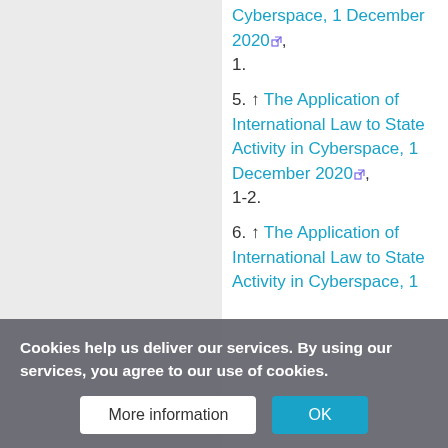Cyberspace, 1 December 2020, 1.
5. ↑ The Application of International Law to State Activity in Cyberspace, 1 December 2020, 1-2.
6. ↑ The Application of International Law to State Activity in Cyberspace, 1
7. ↑ The Application of International Law